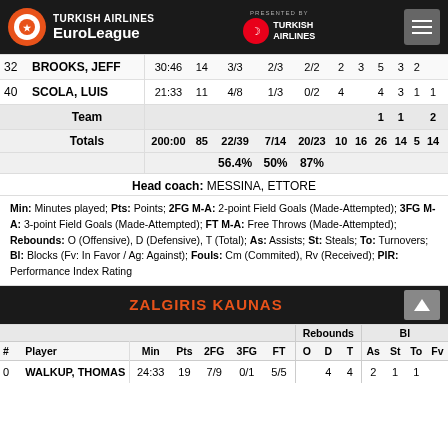[Figure (logo): Turkish Airlines EuroLeague header logo with navigation]
| # | Player | Min | Pts | 2FG | 3FG | FT | O | D | T | As | St | To | Fv |
| --- | --- | --- | --- | --- | --- | --- | --- | --- | --- | --- | --- | --- | --- |
| 32 | BROOKS, JEFF | 30:46 | 14 | 3/3 | 2/3 | 2/2 | 2 | 3 | 5 | 3 | 2 |  |  |
| 40 | SCOLA, LUIS | 21:33 | 11 | 4/8 | 1/3 | 0/2 | 4 |  | 4 | 3 | 1 | 1 |  |
|  | Team |  |  |  |  |  |  |  | 1 | 1 |  | 2 |  |
|  | Totals | 200:00 | 85 | 22/39 | 7/14 | 20/23 | 10 | 16 | 26 | 14 | 5 | 14 |  |
|  |  |  |  | 56.4% | 50% | 87% |  |  |  |  |  |  |  |
Head coach: MESSINA, ETTORE
Min: Minutes played; Pts: Points; 2FG M-A: 2-point Field Goals (Made-Attempted); 3FG M-A: 3-point Field Goals (Made-Attempted); FT M-A: Free Throws (Made-Attempted); Rebounds: O (Offensive), D (Defensive), T (Total); As: Assists; St: Steals; To: Turnovers; Bl: Blocks (Fv: In Favor / Ag: Against); Fouls: Cm (Commited), Rv (Received); PIR: Performance Index Rating
ZALGIRIS KAUNAS
| # | Player | Min | Pts | 2FG | 3FG | FT | O | D | T | As | St | To | Fv |
| --- | --- | --- | --- | --- | --- | --- | --- | --- | --- | --- | --- | --- | --- |
| 0 | WALKUP, THOMAS | 24:33 | 19 | 7/9 | 0/1 | 5/5 |  | 4 | 4 | 2 | 1 | 1 |  |